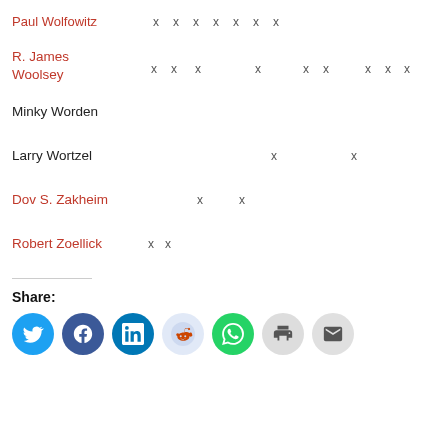| Paul Wolfowitz | x | x | x | x | x | x | x |
| R. James Woolsey | x | x | x |  | x |  | x | x | x | x |
| Minky Worden |  |  |  |  |  |  |  |
| Larry Wortzel |  |  |  |  | x |  | x |
| Dov S. Zakheim |  | x | x |  |  |  |  |
| Robert Zoellick | x | x |  |  |  |  |  |
Share:
[Figure (infographic): Social share icons: Twitter, Facebook, LinkedIn, Reddit, WhatsApp, Print, Email]